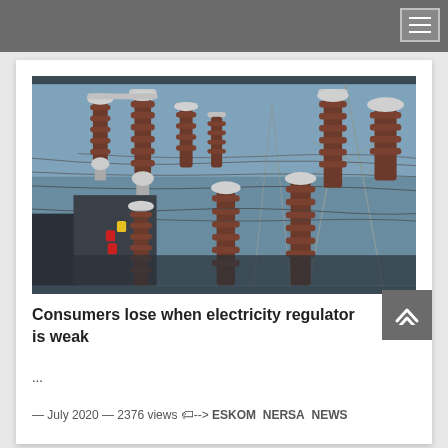[Figure (photo): Photograph of an electrical power substation showing high-voltage insulators, transformers and transmission line infrastructure against a blue sky background.]
Consumers lose when electricity regulator is weak
...
— July 2020 — 2376 views 🏷️--> ESKOM  NERSA  NEWS